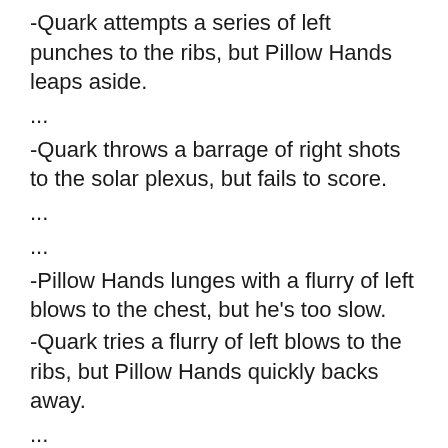-Quark attempts a series of left punches to the ribs, but Pillow Hands leaps aside.
...
-Quark throws a barrage of right shots to the solar plexus, but fails to score.
...
...
-Pillow Hands lunges with a flurry of left blows to the chest, but he's too slow.
-Quark tries a flurry of left blows to the ribs, but Pillow Hands quickly backs away.
...
...
...
-Quark attempts a flurry of blows to the solar plexus, but flails uselessly.
...
...